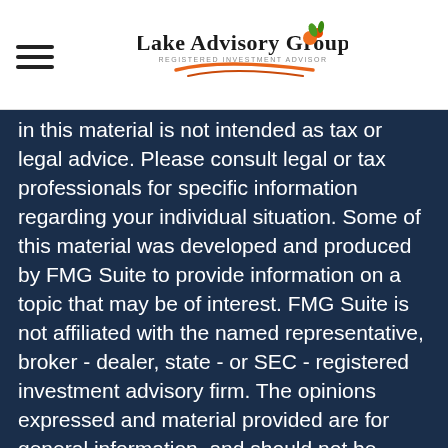Lake Advisory Group - Registered Investment Advisor
in this material is not intended as tax or legal advice. Please consult legal or tax professionals for specific information regarding your individual situation. Some of this material was developed and produced by FMG Suite to provide information on a topic that may be of interest. FMG Suite is not affiliated with the named representative, broker - dealer, state - or SEC - registered investment advisory firm. The opinions expressed and material provided are for general information, and should not be considered a solicitation for the purchase or sale of any security.

We take protecting your data and privacy very seriously. As of January 1, 2020 the California